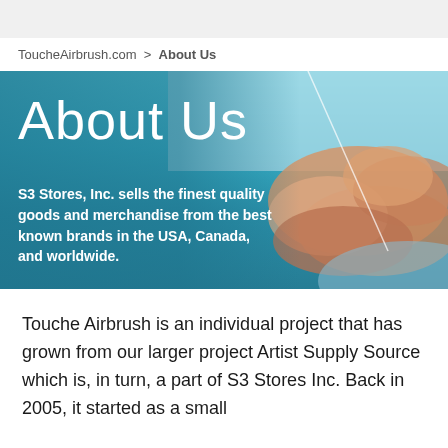ToucheAirbrush.com > About Us
[Figure (photo): Hero banner with 'About Us' title on a teal/blue gradient background with a photo of hands touching on the right side. Text overlay reads: S3 Stores, Inc. sells the finest quality goods and merchandise from the best known brands in the USA, Canada, and worldwide.]
Touche Airbrush is an individual project that has grown from our larger project Artist Supply Source which is, in turn, a part of S3 Stores Inc. Back in 2005, it started as a small